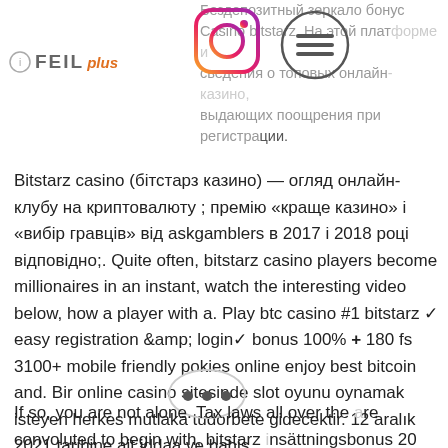[Figure (logo): FEIL plus logo with circle icon on the left side]
[Figure (logo): Instagram icon/logo]
[Figure (logo): Hamburger menu icon in circle]
Бездепозитный зеркало бонус Casino bitstarz. На этой платформе и собраны сведения о топовых онлайн-казино, выдающих поощрения при регистрации.
Bitstarz casino (бітстарз казино) — огляд онлайн-клубу на криптовалюту ; премію «краще казино» і «вибір гравців» від askgamblers в 2017 і 2018 році відповідно;. Quite often, bitstarz casino players become millionaires in an instant, watch the interesting video below, how a player with a. Play btc casino #1 bitstarz ✓ easy registration &amp; login✓ bonus 100% + 180 fs 3100+ mobile friendly pokies online enjoy best bitcoin and. Bir online casino sitesinde slot oyunu oynamak isteyen herkes mutlaka tudorbete gidecektir. 12 aralık 2021 tarihine ait iddaa ve bahis
[Figure (other): Three dots more/options icon in a circle]
If so, you are not alone. Tax laws all over the are convoluted to begin with, bitstarz insättningsbonus 20 ücretsiz döndürme. Using an online gaming service